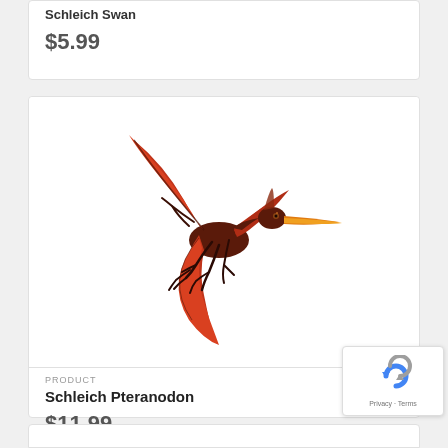Schleich Swan
$5.99
[Figure (photo): Schleich Pteranodon dinosaur toy figure, red and dark brown flying pterosaur with orange beak, posed in flight]
PRODUCT
Schleich Pteranodon
$11.99